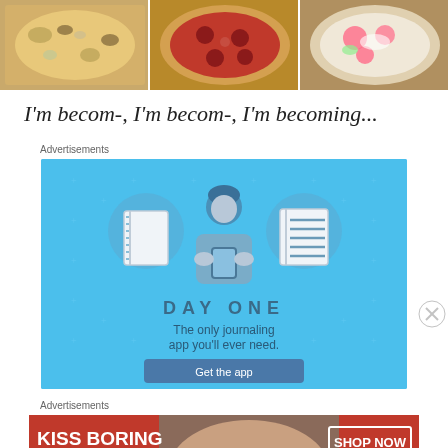[Figure (photo): Three pizza images side by side in a horizontal strip]
I'm becom-, I'm becom-, I'm becoming...
Advertisements
[Figure (infographic): Day One journaling app advertisement with blue background, icons of notebooks and a person, text 'DAY ONE - The only journaling app you'll ever need.' and a 'Get the app' button]
Advertisements
[Figure (photo): Macy's advertisement: 'KISS BORING LIPS GOODBYE' with a woman's face showing red lips, and 'SHOP NOW' button with Macy's star logo]